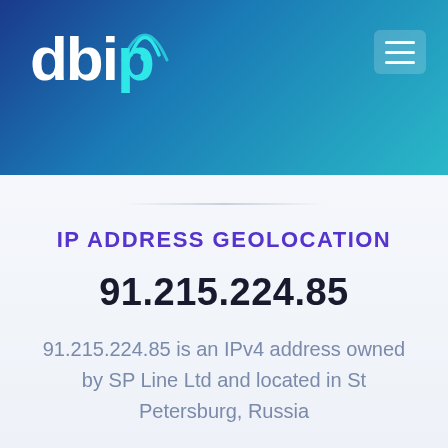[Figure (logo): db-ip.com logo with wifi signal arcs above the dot of the i, on a blue-teal gradient header background, with a hamburger menu icon in the top right]
IP ADDRESS GEOLOCATION
91.215.224.85
91.215.224.85 is an IPv4 address owned by SP Line Ltd and located in St Petersburg, Russia